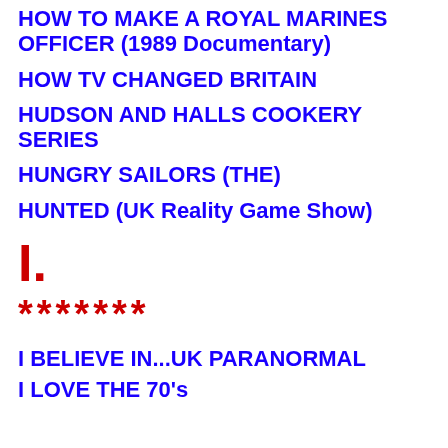HOW TO MAKE A ROYAL MARINES OFFICER (1989 Documentary)
HOW TV CHANGED BRITAIN
HUDSON AND HALLS COOKERY SERIES
HUNGRY SAILORS (THE)
HUNTED (UK Reality Game Show)
I.
*******
I BELIEVE IN...UK PARANORMAL
I LOVE THE 70's